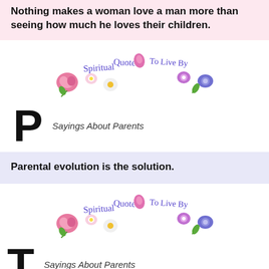Nothing makes a woman love a man more than seeing how much he loves their children.
[Figure (logo): Spiritual Quotes To Live By logo with decorative flowers and cursive text]
P  Sayings About Parents
Parental evolution is the solution.
[Figure (logo): Spiritual Quotes To Live By logo with decorative flowers and cursive text]
T  Sayings About Parents